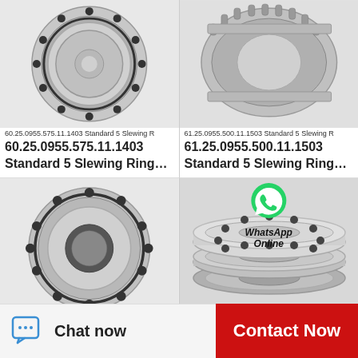[Figure (photo): Slewing ring bearing, circular, silver/steel, top-down view with bolt holes around perimeter]
60.25.0955.575.11.1403 Standard 5 Slewing R
60.25.0955.575.11.1403 Standard 5 Slewing Ring…
[Figure (photo): Large cylindrical roller bearing, silver/steel, dense roller elements visible, side perspective view]
61.25.0955.500.11.1503 Standard 5 Slewing R
61.25.0955.500.11.1503 Standard 5 Slewing Ring…
[Figure (photo): Slewing ring bearing, circular, silver/steel, top-down view with bolt holes, hollow center visible]
[Figure (photo): Two thin slewing rings stacked, with bolt holes, flat disk bearing style, silver/steel]
[Figure (logo): WhatsApp logo green circle with phone icon, with text 'WhatsApp Online']
Chat now
Contact Now